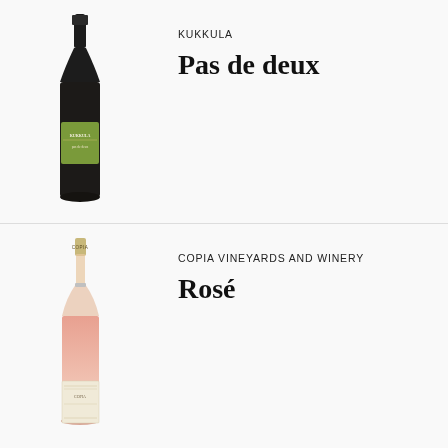[Figure (photo): Dark red wine bottle with green label reading KUKKULA Pas de deux]
KUKKULA
Pas de deux
[Figure (photo): Rose wine bottle with light pink gradient and textured white label, COPIA branding]
COPIA VINEYARDS AND WINERY
Rosé